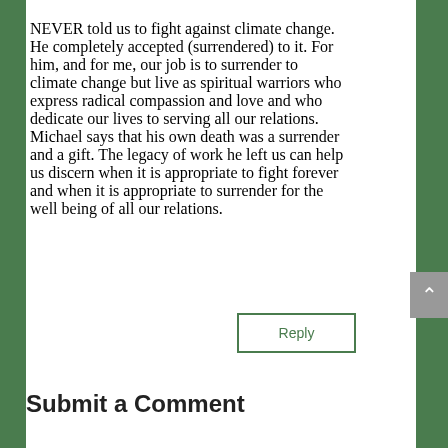NEVER told us to fight against climate change. He completely accepted (surrendered) to it. For him, and for me, our job is to surrender to climate change but live as spiritual warriors who express radical compassion and love and who dedicate our lives to serving all our relations. Michael says that his own death was a surrender and a gift. The legacy of work he left us can help us discern when it is appropriate to fight forever and when it is appropriate to surrender for the well being of all our relations.
Reply
Submit a Comment